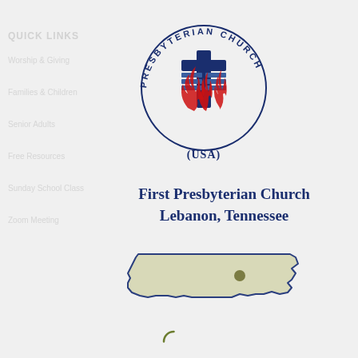QUICK LINKS
Worship & Giving
Families & Children
Senior Adults
Free Resources
Sunday School Class
Zoom Meeting
[Figure (logo): Presbyterian Church (USA) logo with blue cross/book symbol and red flame elements, circular text reading PRESBYTERIAN CHURCH and (USA) below]
First Presbyterian Church
Lebanon, Tennessee
[Figure (map): Outline map of Tennessee state in light tan/beige with dark olive dot marking Lebanon, TN location, with dark blue border]
[Figure (other): Partial loading arc/spinner in olive green color]